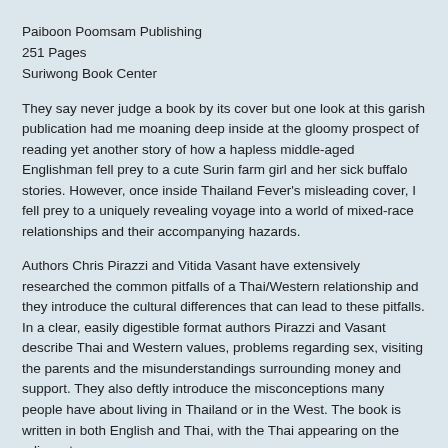Paiboon Poomsam Publishing
251 Pages
Suriwong Book Center
They say never judge a book by its cover but one look at this garish publication had me moaning deep inside at the gloomy prospect of reading yet another story of how a hapless middle-aged Englishman fell prey to a cute Surin farm girl and her sick buffalo stories. However, once inside Thailand Fever's misleading cover, I fell prey to a uniquely revealing voyage into a world of mixed-race relationships and their accompanying hazards.
Authors Chris Pirazzi and Vitida Vasant have extensively researched the common pitfalls of a Thai/Western relationship and they introduce the cultural differences that can lead to these pitfalls. In a clear, easily digestible format authors Pirazzi and Vasant describe Thai and Western values, problems regarding sex, visiting the parents and the misunderstandings surrounding money and support. They also deftly introduce the misconceptions many people have about living in Thailand or in the West. The book is written in both English and Thai, with the Thai appearing on the adjacent page.
I must confess to approaching the book in a slightly arrogant way, having been in a mixed relationship for some time, but it did...